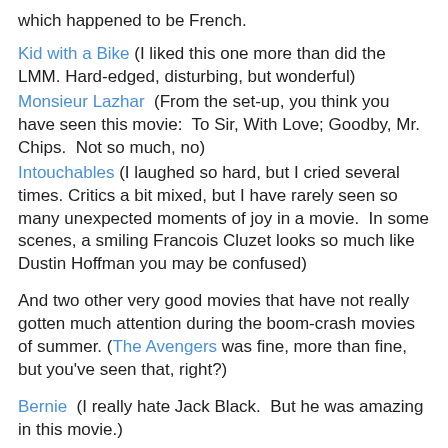which happened to be French.
Kid with a Bike (I liked this one more than did the LMM. Hard-edged, disturbing, but wonderful)
Monsieur Lazhar (From the set-up, you think you have seen this movie: To Sir, With Love; Goodby, Mr. Chips. Not so much, no)
Intouchables (I laughed so hard, but I cried several times. Critics a bit mixed, but I have rarely seen so many unexpected moments of joy in a movie. In some scenes, a smiling Francois Cluzet looks so much like Dustin Hoffman you may be confused)
And two other very good movies that have not really gotten much attention during the boom-crash movies of summer. (The Avengers was fine, more than fine, but you've seen that, right?)
Bernie (I really hate Jack Black. But he was amazing in this movie.)
Best Exotic Marigold Hotel (Sweet. Perhaps a little too much "white people seduced by ancient mysteries of Asia"